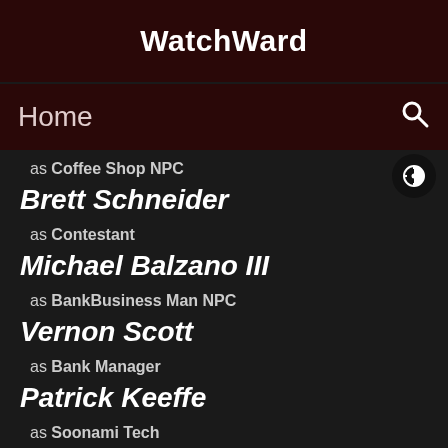WatchWard
Home
as Coffee Shop NPC
Brett Schneider
as Contestant
Michael Balzano III
as BankBusiness Man NPC
Vernon Scott
as Bank Manager
Patrick Keeffe
as Soonami Tech